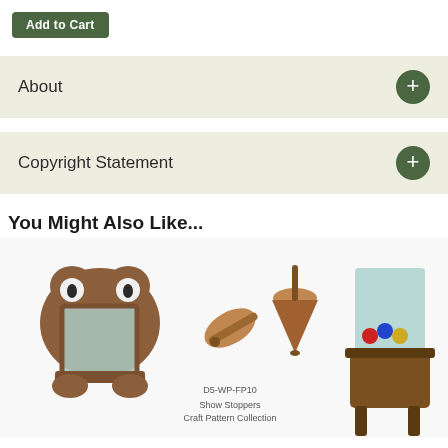Add to Cart
About
Copyright Statement
You Might Also Like...
[Figure (photo): Product image showing wooden toy items including a frog mirror, spinning tops, and a billiard table set. Text visible: 'D5-WP-FP10', 'Show Stoppers', 'Craft Pattern Collection']